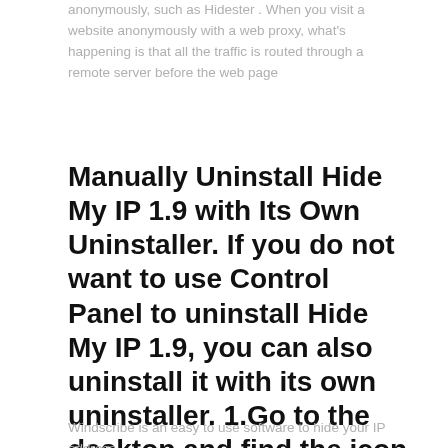anonymously, such as Hidester . When you visit a website anonymously with a web proxy, what's happening is that all the traffic is routed through a remote server before the web page
Manually Uninstall Hide My IP 1.9 with Its Own Uninstaller. If you do not want to use Control Panel to uninstall Hide My IP 1.9, you can also uninstall it with its own uninstaller. 1.Go to the desktop and find the icon of Hide My IP 1.9. 2.Right click its icon and click Properties.
Windscribe is an easy to use software to hide your IP address